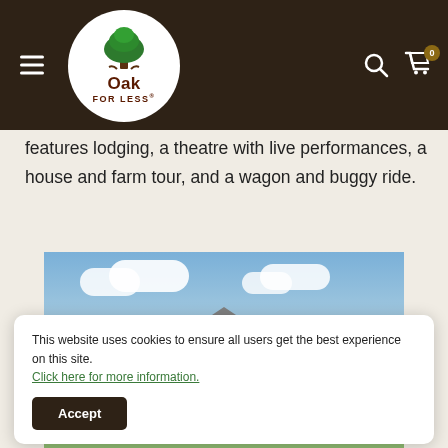Oak For Less - Navigation header with hamburger menu, logo, search and cart icons
features lodging, a theatre with live performances, a house and farm tour, and a wagon and buggy ride.
[Figure (photo): Round red barn with a grey conical roof and cupola against a blue sky with white clouds, farm fields visible below]
This website uses cookies to ensure all users get the best experience on this site. Click here for more information.
Accept